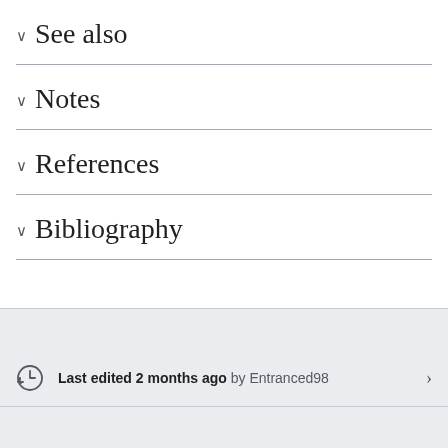See also
Notes
References
Bibliography
Last edited 2 months ago by Entranced98